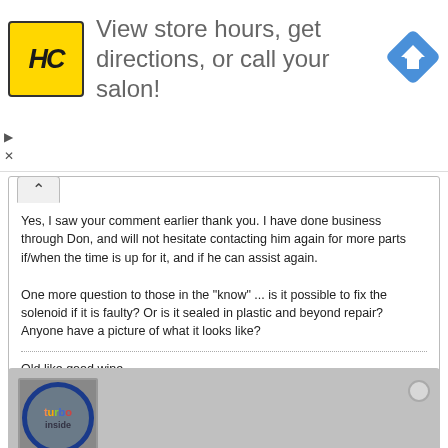[Figure (logo): HC logo yellow square with HC letters, advertisement banner: 'View store hours, get directions, or call your salon!' with blue navigation arrow icon]
Yes, I saw your comment earlier thank you. I have done business through Don, and will not hesitate contacting him again for more parts if/when the time is up for it, and if he can assist again.

One more question to those in the "know" ... is it possible to fix the solenoid if it is faulty? Or is it sealed in plastic and beyond repair? Anyone have a picture of what it looks like?
Old like good wine...
[Figure (logo): turbokinetic user avatar: colorful 'turbo inside' text in circular blue border on grey background]
turbokinetic
Senior Member